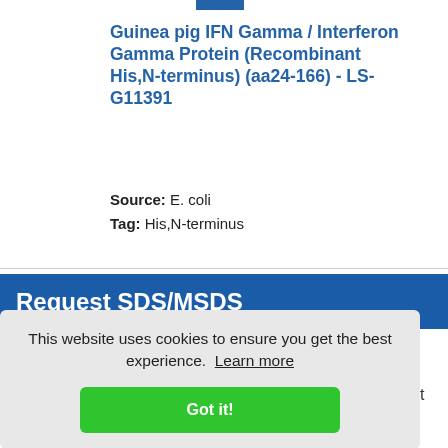Guinea pig IFN Gamma / Interferon Gamma Protein (Recombinant His,N-terminus) (aa24-166) - LS-G11391
Source: E. coli
Tag: His,N-terminus
Request SDS/MSDS
This website uses cookies to ensure you get the best experience. Learn more
Got it!